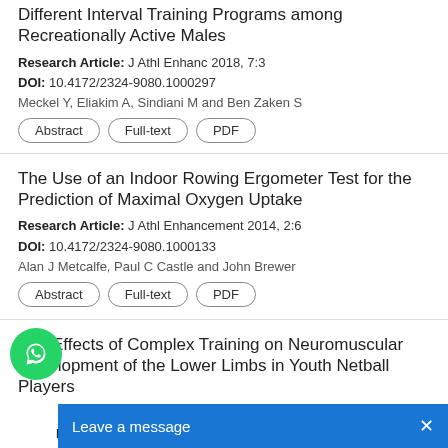Different Interval Training Programs among Recreationally Active Males
Research Article: J Athl Enhanc 2018, 7:3
DOI: 10.4172/2324-9080.1000297
Meckel Y, Eliakim A, Sindiani M and Ben Zaken S
The Use of an Indoor Rowing Ergometer Test for the Prediction of Maximal Oxygen Uptake
Research Article: J Athl Enhancement 2014, 2:6
DOI: 10.4172/2324-9080.1000133
Alan J Metcalfe, Paul C Castle and John Brewer
The Effects of Complex Training on Neuromuscular Development of the Lower Limbs in Youth Netball Players
Research Article: J Athl Enhanc 2018, 7:6
DOI: 10.4172/2324-9080.1000309
Humphrys BR, Aspe R, Clarke R, H...